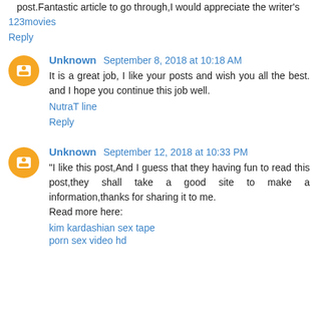post.Fantastic article to go through,I would appreciate the writer's
123movies
Reply
Unknown September 8, 2018 at 10:18 AM
It is a great job, I like your posts and wish you all the best. and I hope you continue this job well.
NutraT line
Reply
Unknown September 12, 2018 at 10:33 PM
"I like this post,And I guess that they having fun to read this post,they shall take a good site to make a information,thanks for sharing it to me.
Read more here:
kim kardashian sex tape
porn sex video hd